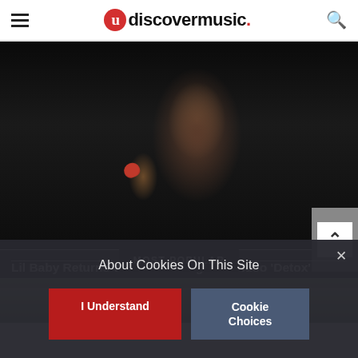uDiscoverMusic
[Figure (photo): Dark moody photo of a shirtless person in a boxing pose, wearing red gloves, in a dark indoor environment]
Lil Baby Returns With New Song And Video 'Detox'
MOST POPULAR
[Figure (photo): Partial view of an outdoor scene with greenery/nature and a hand visible, in a blurred background]
About Cookies On This Site
I Understand
Cookie Choices